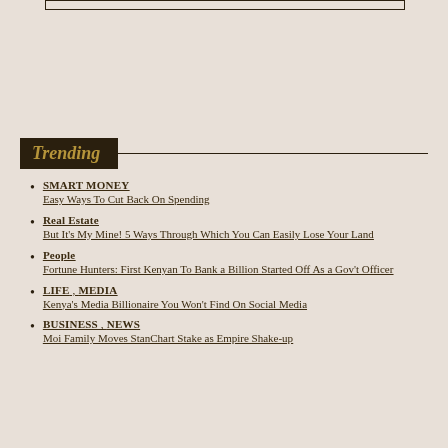Trending
SMART MONEY
Easy Ways To Cut Back On Spending
Real Estate
But It's My Mine! 5 Ways Through Which You Can Easily Lose Your Land
People
Fortune Hunters: First Kenyan To Bank a Billion Started Off As a Gov't Officer
LIFE , MEDIA
Kenya's Media Billionaire You Won't Find On Social Media
BUSINESS , NEWS
Moi Family Moves StanChart Stake as Empire Shake-up